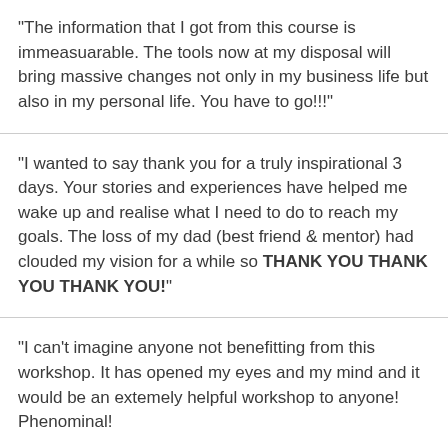"The information that I got from this course is immeasuarable.  The tools now at my disposal will bring massive changes not only in my business life but also in my personal life. You have to go!!!"
"I wanted to say thank you for a truly inspirational 3 days.  Your stories and experiences have helped me wake up and realise what I need to do to reach my goals.   The loss of my dad (best friend & mentor) had clouded my vision for a while so THANK YOU  THANK YOU THANK YOU!"
"I can't imagine anyone not benefitting from this workshop. It has opened my eyes and my mind and it would be an extemely helpful workshop to anyone! Phenominal!